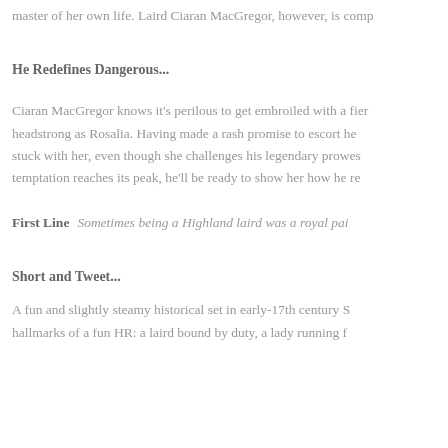master of her own life. Laird Ciaran MacGregor, however, is comp
He Redefines Dangerous...
Ciaran MacGregor knows it's perilous to get embroiled with a fier headstrong as Rosalia. Having made a rash promise to escort he stuck with her, even though she challenges his legendary prowes temptation reaches its peak, he'll be ready to show her how he re
First Line  Sometimes being a Highland laird was a royal pai
Short and Tweet...
A fun and slightly steamy historical set in early-17th century S hallmarks of a fun HR: a laird bound by duty, a lady running f